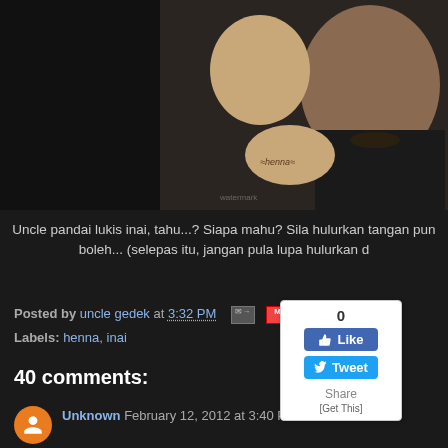[Figure (photo): Two people in a selfie-style photo against a dark background; one person holds up a hand decorated with henna/inai patterns.]
Uncle pandai lukis inai, tahu...? Siapa mahu? Sila hulurkan tangan pun boleh... (selepas itu, jangan pula lupa hulurkan d
Posted by uncle gedek at 3:32 PM
Labels: henna, inai
[Figure (screenshot): Social sharing widget showing 0 likes, a Like button (blue with thumbs up), a Tweet button (blue with Twitter bird), a Share label, and [Get This] link.]
40 comments:
Unknown February 12, 2012 at 3:40 PM